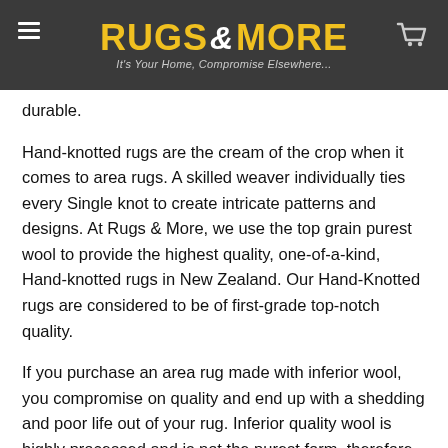RUGS & MORE — It's Your Home, Compromise Elsewhere...
durable.
Hand-knotted rugs are the cream of the crop when it comes to area rugs. A skilled weaver individually ties every Single knot to create intricate patterns and designs. At Rugs & More, we use the top grain purest wool to provide the highest quality, one-of-a-kind, Hand-knotted rugs in New Zealand. Our Hand-Knotted rugs are considered to be of first-grade top-notch quality.
If you purchase an area rug made with inferior wool, you compromise on quality and end up with a shedding and poor life out of your rug. Inferior quality wool is highly processed and is not the purest form, therefore providing cheaper production costs for cheaper rug quality. When you buy from us, we provide you with the best Hand-knotted rugs in the